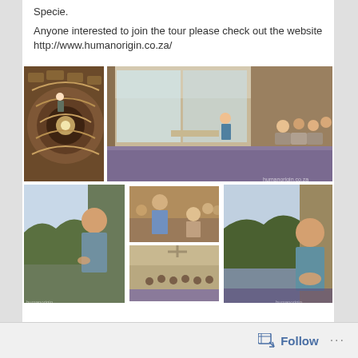Specie.
Anyone interested to join the tour please check out the website http://www.humanorigin.co.za/
[Figure (photo): Collage of 6 photos: top-left shows a spiral wooden staircase viewed from above; top-right shows a hotel/conference room with people seated while a presenter stands at front; bottom-left shows a bald man presenting in front of a projection screen; bottom-center-top shows a man interacting with a seated audience member; bottom-center-bottom shows a conference room with people seated; bottom-right shows another shot of the bald presenter in front of a projected landscape.]
Follow ...